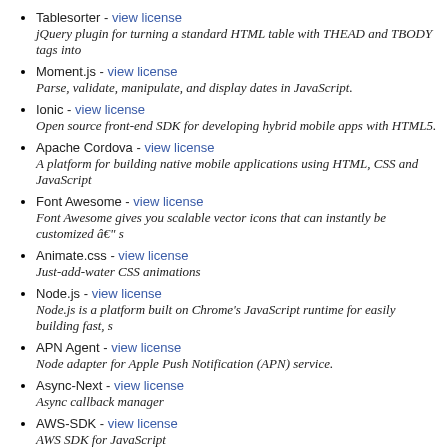Tablesorter - view license
jQuery plugin for turning a standard HTML table with THEAD and TBODY tags into...
Moment.js - view license
Parse, validate, manipulate, and display dates in JavaScript.
Ionic - view license
Open source front-end SDK for developing hybrid mobile apps with HTML5.
Apache Cordova - view license
A platform for building native mobile applications using HTML, CSS and JavaScript...
Font Awesome - view license
Font Awesome gives you scalable vector icons that can instantly be customized â€" s...
Animate.css - view license
Just-add-water CSS animations
Node.js - view license
Node.js is a platform built on Chrome's JavaScript runtime for easily building fast, s...
APN Agent - view license
Node adapter for Apple Push Notification (APN) service.
Async-Next - view license
Async callback manager
AWS-SDK - view license
AWS SDK for JavaScript
Bcrypt - view license
A bcrypt library for NodeJS.